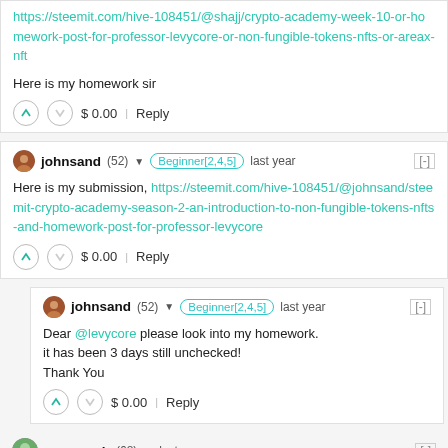https://steemit.com/hive-108451/@shajj/crypto-academy-week-10-or-homework-post-for-professor-levycore-or-non-fungible-tokens-nfts-or-areax-nft
Here is my homework sir
$ 0.00   Reply
johnsand (52) Beginner[2,4,5] last year [-]
Here is my submission, https://steemit.com/hive-108451/@johnsand/steemit-crypto-academy-season-2-an-introduction-to-non-fungible-tokens-nfts-and-homework-post-for-professor-levycore
$ 0.00   Reply
johnsand (52) Beginner[2,4,5] last year [-]
Dear @levycore please look into my homework.
it has been 3 days still unchecked!
Thank You
$ 0.00   Reply
ns-porosh (68) last year [-]